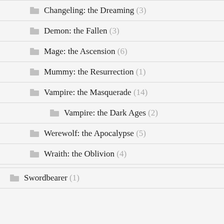Changeling: the Dreaming (3)
Demon: the Fallen (3)
Mage: the Ascension (6)
Mummy: the Resurrection (1)
Vampire: the Masquerade (14)
Vampire: the Dark Ages (2)
Werewolf: the Apocalypse (5)
Wraith: the Oblivion (4)
Swordbearer (1)